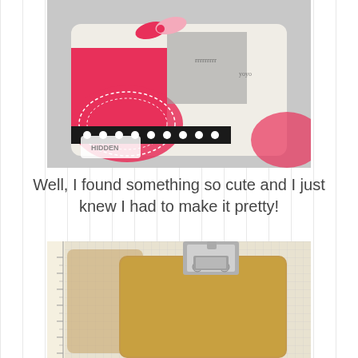[Figure (photo): A decorated miniature clipboard with colorful paper crafting materials including pink/red doily, black and white polka dot washi tape, gray and pink patterned papers, small pink bow/ribbon clip, and a 'Hidden Gem' logo watermark in the bottom left corner.]
Well, I found something so cute and I just knew I had to make it pretty!
[Figure (photo): A plain brown/kraft mini clipboard with a silver metal clip at the top, shown on a grid/graph paper background with a ruler visible on the left side.]